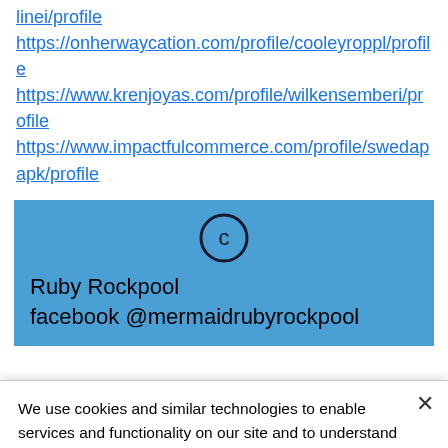linei/profile https://onherwaycation.com/profile/cooleyroppl/profile https://www.krenjoyas.com/profile/wilkensemberi/profile https://www.impactfulcommerce.com/profile/swedapapk/profile
[Figure (other): Blue box with copyright circle icon, text 'Ruby Rockpool' and 'facebook @mermaidrubyrockpool']
We use cookies and similar technologies to enable services and functionality on our site and to understand your interaction with our service. By clicking on accept, you agree to our use of such technologies for marketing and analytics. See Privacy Policy